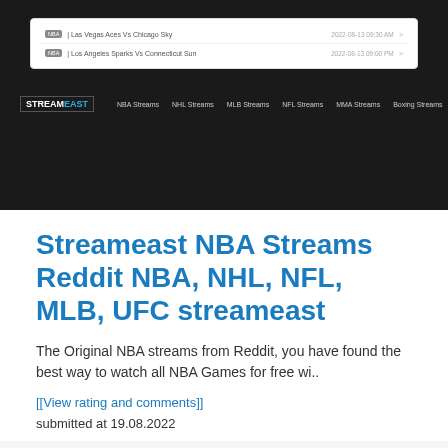[Figure (screenshot): Screenshot of the StreamEast website showing a navigation bar with links to NBA Streams, NHL Streams, MLB Streams, NFL Streams, MMA Streams, Boxing Streams, Totalsports Streams, and two rows listing Las Vegas Aces Vs Chicago Sky and Los Angeles Sparks Vs Connecticut Sun with dates.]
Streameast NBA Streams Reddit NBA, NHL, NFL, MLB, UFC streameast
The Original NBA streams from Reddit, you have found the best way to watch all NBA Games for free wi..
[[View rating and comments]]
submitted at 19.08.2022
[Figure (logo): Partial bottom image showing logos including a blue circle, a TV icon, and green italic text reading 'Series']